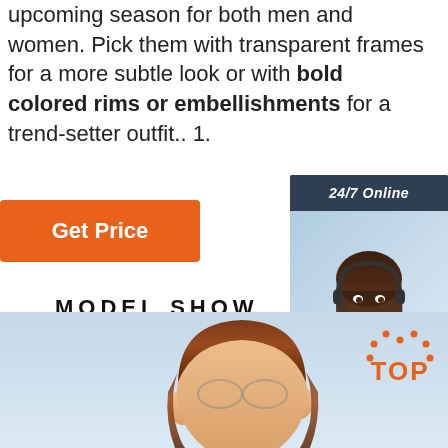upcoming season for both men and women. Pick them with transparent frames for a more subtle look or with bold colored rims or embellishments for a trend-setter outfit.. 1.
[Figure (other): Orange 'Get Price' button]
[Figure (other): 24/7 Online chat widget with photo of woman wearing headset, 'Click here for free chat!' text, and 'QUOTATION' orange button]
MODEL SHOW
[Figure (photo): Bottom portion showing person's head/hair against light blue background, with orange TOP badge in upper right]
[Figure (logo): Orange TOP badge with dotted arc above]